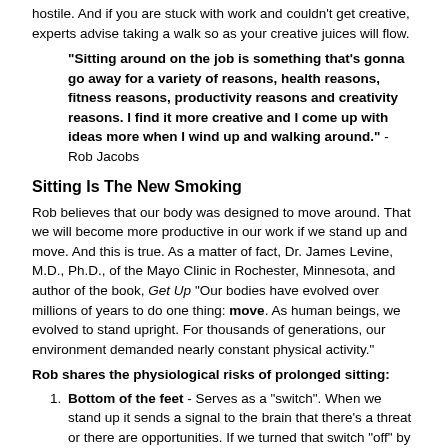hostile. And if you are stuck with work and couldn't get creative, experts advise taking a walk so as your creative juices will flow.
"Sitting around on the job is something that's gonna go away for a variety of reasons, health reasons, fitness reasons, productivity reasons and creativity reasons. I find it more creative and I come up with ideas more when I wind up and walking around." - Rob Jacobs
Sitting Is The New Smoking
Rob believes that our body was designed to move around. That we will become more productive in our work if we stand up and move. And this is true. As a matter of fact, Dr. James Levine, M.D., Ph.D., of the Mayo Clinic in Rochester, Minnesota, and author of the book, Get Up "Our bodies have evolved over millions of years to do one thing: move. As human beings, we evolved to stand upright. For thousands of generations, our environment demanded nearly constant physical activity."
Rob shares the physiological risks of prolonged sitting:
Bottom of the feet - Serves as a "switch". When we stand up it sends a signal to the brain that there's a threat or there are opportunities. If we turned that switch "off" by sitting down too much, it sends a lot of functions in the brain that are meant for solving problems, to rest, or asleep. Calories burned start to drop lower to 1 calorie a minute because our body is at rest.